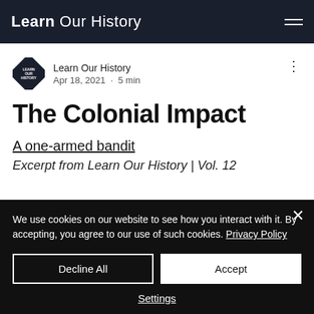Learn Our History
Learn Our History
Apr 18, 2021 · 5 min
The Colonial Impact
A one-armed bandit
Excerpt from Learn Our History | Vol. 12
We use cookies on our website to see how you interact with it. By accepting, you agree to our use of such cookies. Privacy Policy
Decline All
Accept
Settings